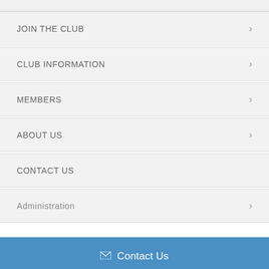JOIN THE CLUB
CLUB INFORMATION
MEMBERS
ABOUT US
CONTACT US
Administration
Contact Us
Connect on Facebook
Connect on Instagram